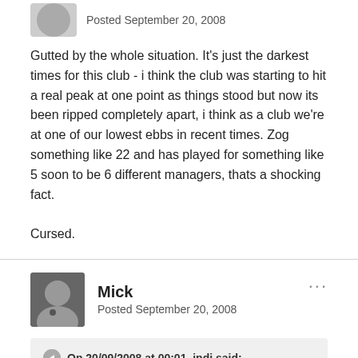Posted September 20, 2008
Gutted by the whole situation. It's just the darkest times for this club - i think the club was starting to hit a real peak at one point as things stood but now its been ripped completely apart, i think as a club we're at one of our lowest ebbs in recent times. Zog something like 22 and has played for something like 5 soon to be 6 different managers, thats a shocking fact.

Cursed.
Mick
Posted September 20, 2008
On 20/09/2008 at 00:01, indi said:
Yeah, he really spoke out against Ashley there, like!!
A whole load of platitudes about Keegan and the fans and it gets spun into "OBA SLATES ASHLEY SHOCKER!"